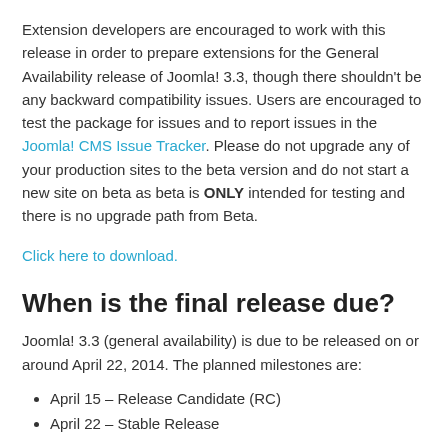Extension developers are encouraged to work with this release in order to prepare extensions for the General Availability release of Joomla! 3.3, though there shouldn't be any backward compatibility issues. Users are encouraged to test the package for issues and to report issues in the Joomla! CMS Issue Tracker. Please do not upgrade any of your production sites to the beta version and do not start a new site on beta as beta is ONLY intended for testing and there is no upgrade path from Beta.
Click here to download.
When is the final release due?
Joomla! 3.3 (general availability) is due to be released on or around April 22, 2014. The planned milestones are:
April 15 – Release Candidate (RC)
April 22 – Stable Release
Please note that dates may be subject to change depending on